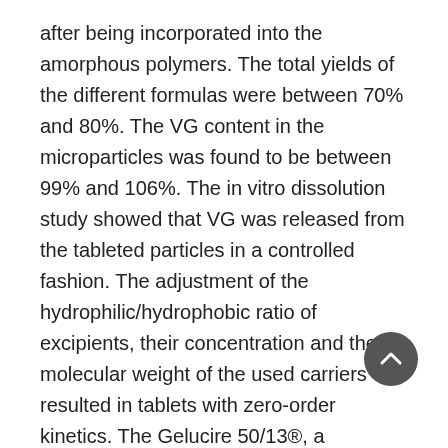after being incorporated into the amorphous polymers. The total yields of the different formulas were between 70% and 80%. The VG content in the microparticles was found to be between 99% and 106%. The in vitro dissolution study showed that VG was released from the tableted particles in a controlled fashion. The adjustment of the hydrophilic/hydrophobic ratio of excipients, their concentration and the molecular weight of the used carriers resulted in tablets with zero-order kinetics. The Gelucire 50/13®, a hydrophilic polymer was characterized by a time-dependent profile with an important burst effect that was decreased by adding Compritol® as a lipophilic carrier to retard the release of VG which is highly soluble in water. PEG® (400,6000 and 35 000) were used for their gelling effect that led to a constant rate delivery and achieving a zero-order profile. Conclusion: Tableted amorphous lipidic microparticles of